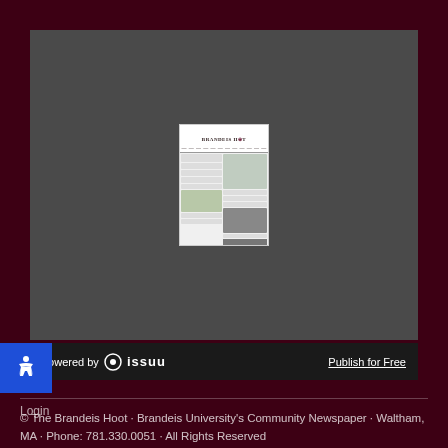[Figure (screenshot): Screenshot of Brandeis Hoot newspaper front page displayed in an Issuu document viewer, showing the masthead 'Brandeis Hoot', a campus photo, and article columns]
powered by issuu
Publish for Free
© The Brandeis Hoot · Brandeis University's Community Newspaper · Waltham, MA · Phone: 781.330.0051 · All Rights Reserved
Login